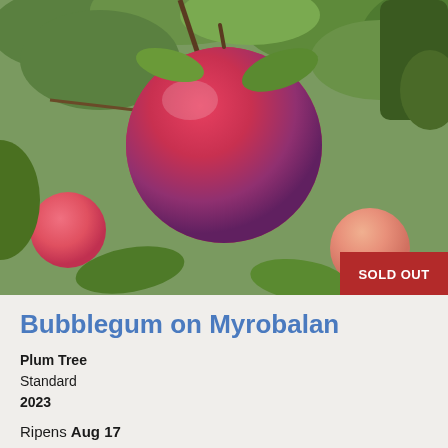[Figure (photo): Close-up photo of red/pink plum fruit hanging on a tree branch with green leaves, and two smaller pink plums visible in the background]
Bubblegum on Myrobalan
Plum Tree
Standard
2023
Ripens Aug 17
An aromatic, delicious, disease-resistant plum...
Sold Out